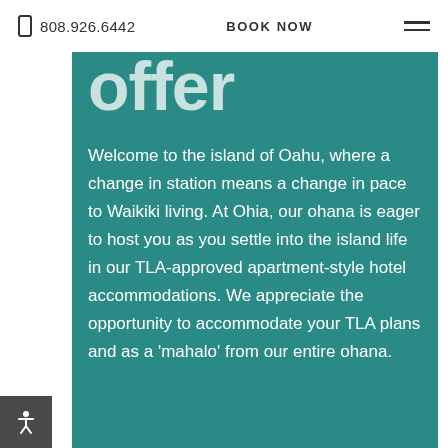808.926.6442   BOOK NOW
offer
Welcome to the island of Oahu, where a change in station means a change in pace to Waikiki living. At Ohia, our ohana is eager to host you as you settle into the island life in our TLA-approved apartment-style hotel accommodations. We appreciate the opportunity to accommodate your TLA plans and as a 'mahalo' from our entire ohana.